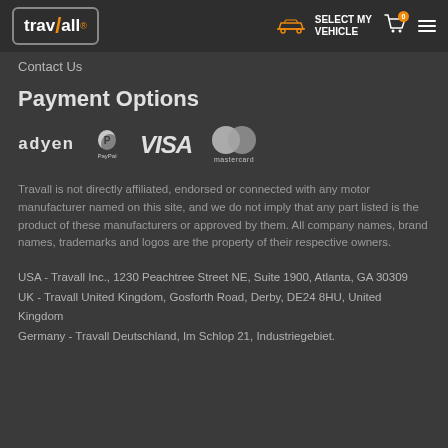[Figure (logo): Travall logo with orange slash and registered trademark]
SELECT MY VEHICLE
Contact Us
Payment Options
[Figure (logo): Payment method logos: Adyen, PayPal, VISA, Mastercard]
Travall is not directly affiliated, endorsed or connected with any motor manufacturer named on this site, and we do not imply that any part listed is the product of these manufacturers or approved by them. All company names, brand names, trademarks and logos are the property of their respective owners.
USA - Travall Inc., 1230 Peachtree Street NE, Suite 1900, Atlanta, GA 30309
UK - Travall United Kingdom, Gosforth Road, Derby, DE24 8HU, United Kingdom
Germany - Travall Deutschland, Im Schlop 21, Industriegebiet.